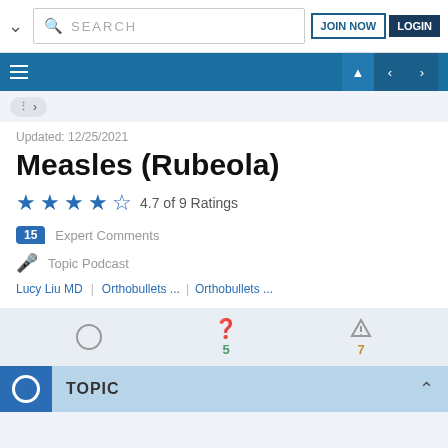SEARCH | JOIN NOW | LOGIN
Updated: 12/25/2021
Measles (Rubeola)
4.7 of 9 Ratings
15 Expert Comments
Topic Podcast
Lucy Liu MD | Orthobullets ... | Orthobullets ...
5 (questions) | 7 (cases)
TOPIC